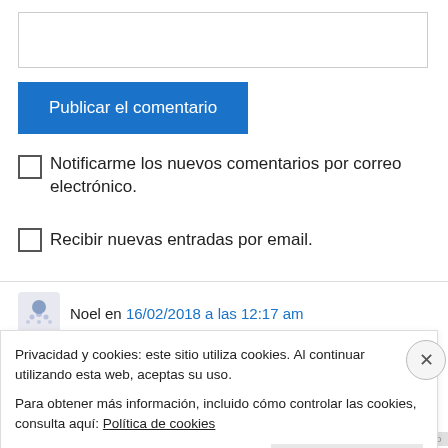[Figure (other): Text input area (empty textarea box)]
Publicar el comentario
Notificarme los nuevos comentarios por correo electrónico.
Recibir nuevas entradas por email.
Noel en 16/02/2018 a las 12:17 am
Privacidad y cookies: este sitio utiliza cookies. Al continuar utilizando esta web, aceptas su uso.
Para obtener más información, incluido cómo controlar las cookies, consulta aquí: Política de cookies
Cerrar y aceptar
INFORMAR SOBRE ESTE ANUNCIO